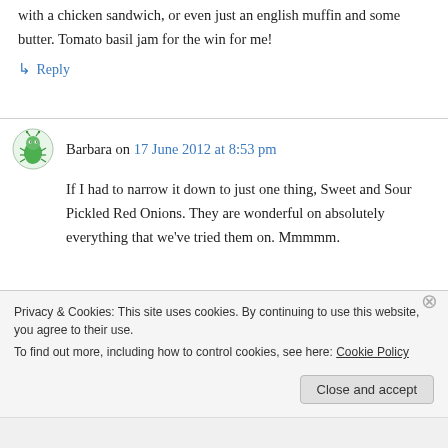with a chicken sandwich, or even just an english muffin and some butter. Tomato basil jam for the win for me!
↳ Reply
Barbara on 17 June 2012 at 8:53 pm
If I had to narrow it down to just one thing, Sweet and Sour Pickled Red Onions. They are wonderful on absolutely everything that we've tried them on. Mmmmm.
Privacy & Cookies: This site uses cookies. By continuing to use this website, you agree to their use. To find out more, including how to control cookies, see here: Cookie Policy